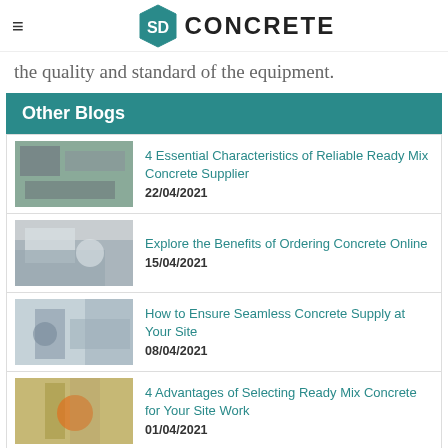SD CONCRETE
the quality and standard of the equipment.
Other Blogs
4 Essential Characteristics of Reliable Ready Mix Concrete Supplier
22/04/2021
Explore the Benefits of Ordering Concrete Online
15/04/2021
How to Ensure Seamless Concrete Supply at Your Site
08/04/2021
4 Advantages of Selecting Ready Mix Concrete for Your Site Work
01/04/2021
Know the Uses of a Concrete Line Pump
25/03/2021